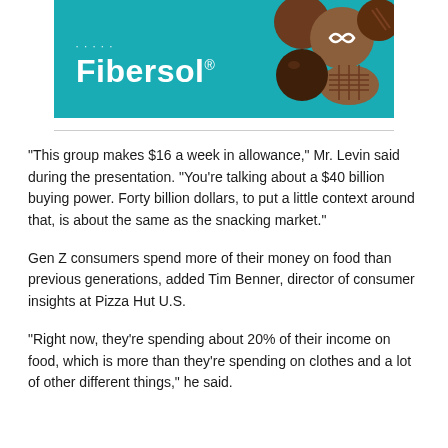[Figure (logo): Fibersol brand banner with teal background, white logo text and chocolate candies on the right side]
“This group makes $16 a week in allowance,” Mr. Levin said during the presentation. “You’re talking about a $40 billion buying power. Forty billion dollars, to put a little context around that, is about the same as the snacking market.”
Gen Z consumers spend more of their money on food than previous generations, added Tim Benner, director of consumer insights at Pizza Hut U.S.
“Right now, they’re spending about 20% of their income on food, which is more than they’re spending on clothes and a lot of other different things,” he said.